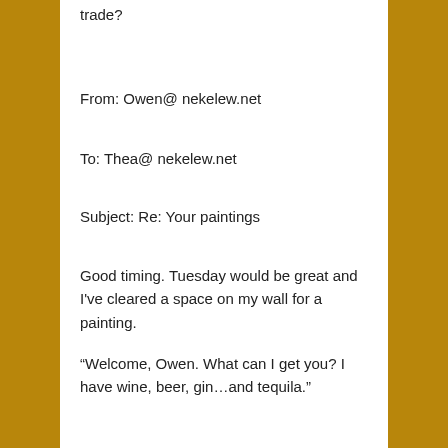trade?
From: Owen@ nekelew.net
To: Thea@ nekelew.net
Subject: Re: Your paintings
Good timing. Tuesday would be great and I've cleared a space on my wall for a painting.
“Welcome, Owen. What can I get you? I have wine, beer, gin…and tequila.”
“Actually, I don’t drink anymore. Friend of Bill Wilson’s, you know. I’d love some juice if you have any.”
“Oh, I have apple juice if you’d like. Either plain or